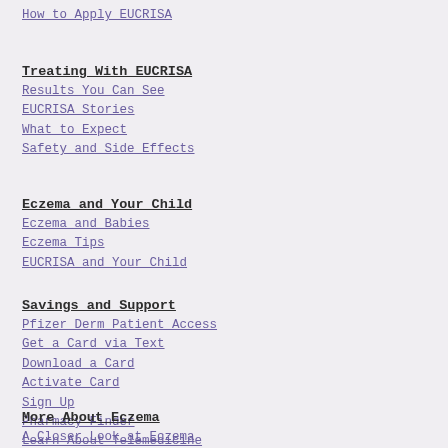How to Apply EUCRISA
Treating With EUCRISA
Results You Can See
EUCRISA Stories
What to Expect
Safety and Side Effects
Eczema and Your Child
Eczema and Babies
Eczema Tips
EUCRISA and Your Child
Savings and Support
Pfizer Derm Patient Access
Get a Card via Text
Download a Card
Activate Card
Sign Up
Pharmacy Finder
Learn About Telemedicine
More About Eczema
A Closer Look at Eczema
Treating Eczema